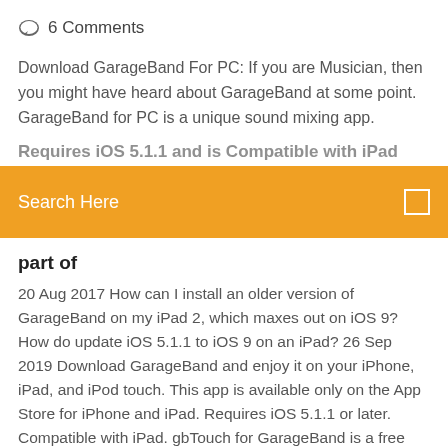6 Comments
Download GarageBand For PC: If you are Musician, then you might have heard about GarageBand at some point. GarageBand for PC is a unique sound mixing app.
Requires iOS 5.1.1 and is Compatible with iPad
Search Here
part of
20 Aug 2017 How can I install an older version of GarageBand on my iPad 2, which maxes out on iOS 9? How do update iOS 5.1.1 to iOS 9 on an iPad? 26 Sep 2019 Download GarageBand and enjoy it on your iPhone, iPad, and iPod touch. This app is available only on the App Store for iPhone and iPad. Requires iOS 5.1.1 or later. Compatible with iPad. gbTouch for GarageBand is a free trial software application from the Audio File Players subcategory, part of  GarageBand for iOS has